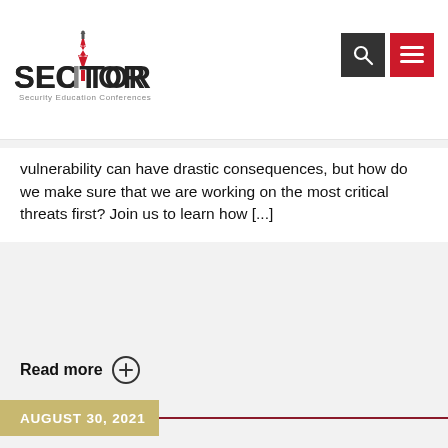SECTOR Security Education Conferences
vulnerability can have drastic consequences, but how do we make sure that we are working on the most critical threats first? Join us to learn how [...]
Read more
AUGUST 30, 2021